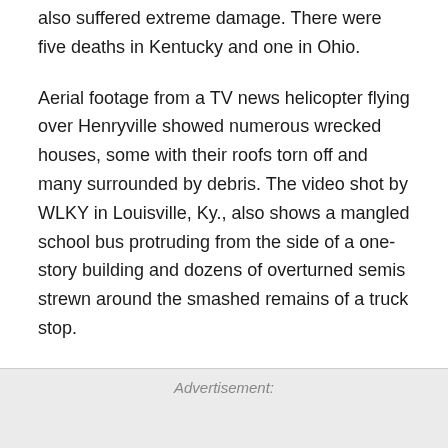also suffered extreme damage. There were five deaths in Kentucky and one in Ohio.
Aerial footage from a TV news helicopter flying over Henryville showed numerous wrecked houses, some with their roofs torn off and many surrounded by debris. The video shot by WLKY in Louisville, Ky., also shows a mangled school bus protruding from the side of a one-story building and dozens of overturned semis strewn around the smashed remains of a truck stop.
Advertisement: